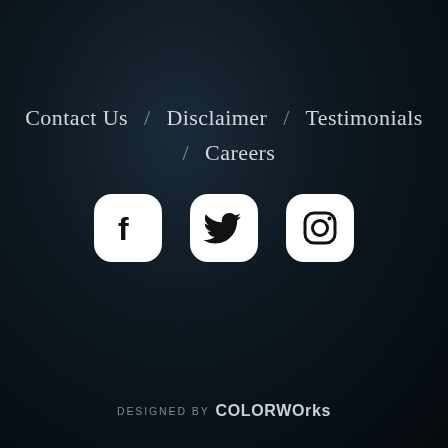Contact Us / Disclaimer / Testimonials / Careers
[Figure (illustration): Three social media icons: Facebook, Twitter, Instagram — white rounded square buttons on dark background]
DESIGNED BY COLORWORKS